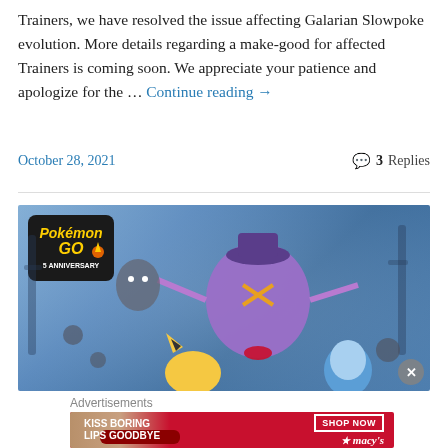Trainers, we have resolved the issue affecting Galarian Slowpoke evolution. More details regarding a make-good for affected Trainers is coming soon. We appreciate your patience and apologize for the … Continue reading →
October 28, 2021   3 Replies
[Figure (illustration): Pokemon GO 5th Anniversary banner image showing Galarian Mr. Mime, Pikachu, Piplup, and other Pokemon in a spooky foggy forest setting]
Advertisements
[Figure (photo): Macy's advertisement: KISS BORING LIPS GOODBYE with SHOP NOW button and Macy's star logo]